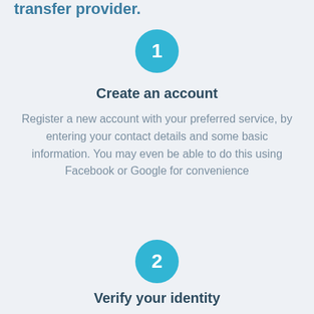transfer provider.
[Figure (infographic): Step 1 circle badge with number 1 in teal/cyan color]
Create an account
Register a new account with your preferred service, by entering your contact details and some basic information. You may even be able to do this using Facebook or Google for convenience
[Figure (infographic): Step 2 circle badge with number 2 in teal/cyan color]
Verify your identity